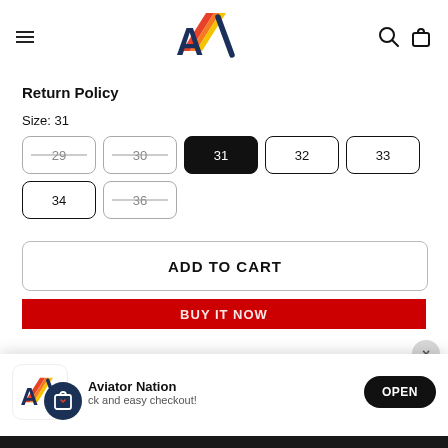[Figure (logo): Aviator Nation logo — stylized AV letters with colored diagonal stripes in red, orange, yellow behind the letters]
Return Policy
Size: 31
Size buttons: 29 (strikethrough), 30 (strikethrough), 31 (selected/black), 32, 33, 34, 36 (strikethrough)
ADD TO CART
BUY IT NOW
[Figure (screenshot): App install popup with Aviator Nation logo, brand name, tagline 'quick and easy checkout!', and OPEN button]